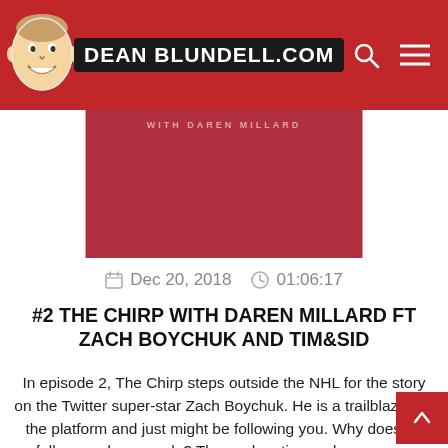DEAN BLUNDELL.COM
[Figure (illustration): Podcast thumbnail image — red background with text 'WITH DAREN MILLARD' partially visible]
Dec 20, 2018   01:06:17
#2 THE CHIRP WITH DAREN MILLARD FT ZACH BOYCHUK AND TIM&SID
In episode 2, The Chirp steps outside the NHL for the story on the Twitter super-star Zach Boychuk. He is a trailblazer on the platform and just might be following you. Why does he follow random people? The explanation and some very interesting real life stories about dealing with life when hockey goes sideways in